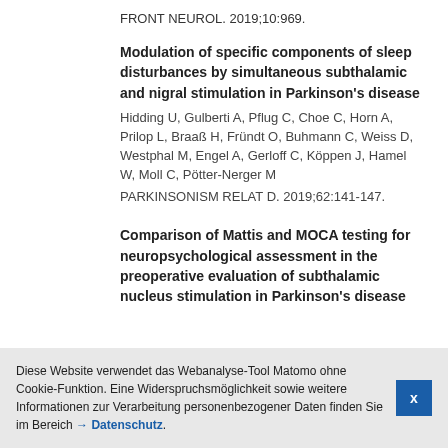FRONT NEUROL. 2019;10:969.
Modulation of specific components of sleep disturbances by simultaneous subthalamic and nigral stimulation in Parkinson's disease
Hidding U, Gulberti A, Pflug C, Choe C, Horn A, Prilop L, Braaß H, Fründt O, Buhmann C, Weiss D, Westphal M, Engel A, Gerloff C, Köppen J, Hamel W, Moll C, Pötter-Nerger M
PARKINSONISM RELAT D. 2019;62:141-147.
Comparison of Mattis and MOCA testing for neuropsychological assessment in the preoperative evaluation of subthalamic nucleus stimulation in Parkinson's disease
Diese Website verwendet das Webanalyse-Tool Matomo ohne Cookie-Funktion. Eine Widerspruchsmöglichkeit sowie weitere Informationen zur Verarbeitung personenbezogener Daten finden Sie im Bereich → Datenschutz.